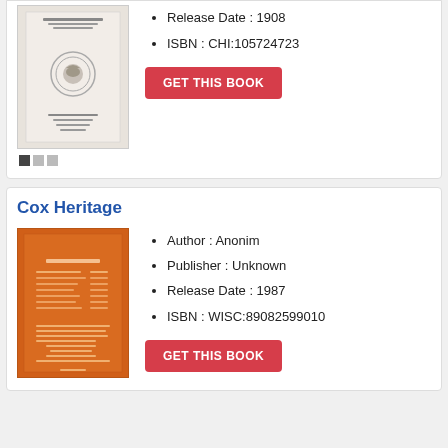[Figure (illustration): Book cover thumbnail for first book (top card), gray/white cover with official seal]
Release Date : 1908
ISBN : CHI:105724723
GET THIS BOOK
Cox Heritage
[Figure (illustration): Book cover thumbnail for Cox Heritage, orange cover with table of contents text]
Author : Anonim
Publisher : Unknown
Release Date : 1987
ISBN : WISC:89082599010
GET THIS BOOK